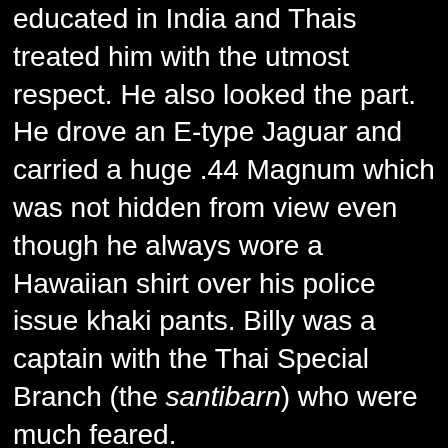educated in India and Thais treated him with the utmost respect. He also looked the part. He drove an E-type Jaguar and carried a huge .44 Magnum which was not hidden from view even though he always wore a Hawaiian shirt over his police issue khaki pants. Billy was a captain with the Thai Special Branch (the santibarn) who were much feared.
Frank took my number and said he would think about it.
Billy and I lived at the same apartment building and by the time we got home Frank called to say he could start the next day.